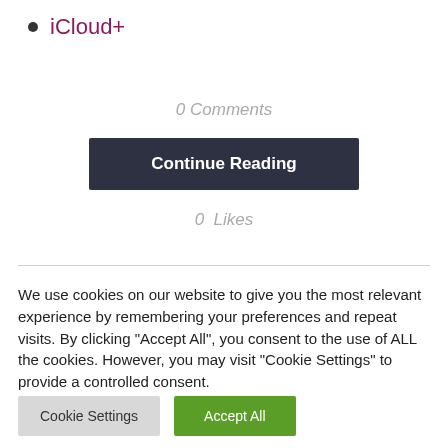iCloud+
0 Comments
Continue Reading
0  Likes
We use cookies on our website to give you the most relevant experience by remembering your preferences and repeat visits. By clicking "Accept All", you consent to the use of ALL the cookies. However, you may visit "Cookie Settings" to provide a controlled consent.
Cookie Settings
Accept All